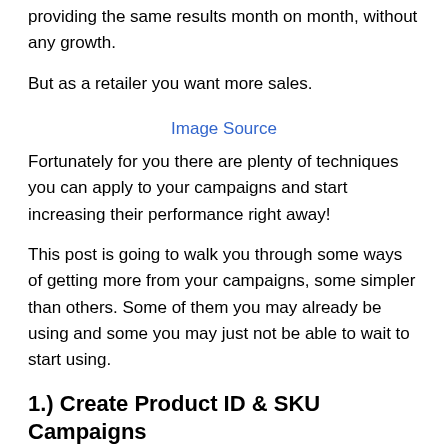providing the same results month on month, without any growth.
But as a retailer you want more sales.
Image Source
Fortunately for you there are plenty of techniques you can apply to your campaigns and start increasing their performance right away!
This post is going to walk you through some ways of getting more from your campaigns, some simpler than others. Some of them you may already be using and some you may just not be able to wait to start using.
1.) Create Product ID & SKU Campaigns